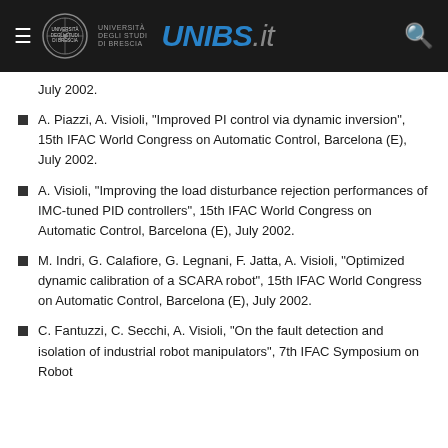UNIBS.it — Università degli studi di Brescia
July 2002.
A. Piazzi, A. Visioli, "Improved PI control via dynamic inversion", 15th IFAC World Congress on Automatic Control, Barcelona (E), July 2002.
A. Visioli, "Improving the load disturbance rejection performances of IMC-tuned PID controllers", 15th IFAC World Congress on Automatic Control, Barcelona (E), July 2002.
M. Indri, G. Calafiore, G. Legnani, F. Jatta, A. Visioli, "Optimized dynamic calibration of a SCARA robot", 15th IFAC World Congress on Automatic Control, Barcelona (E), July 2002.
C. Fantuzzi, C. Secchi, A. Visioli, "On the fault detection and isolation of industrial robot manipulators", 7th IFAC Symposium on Robot